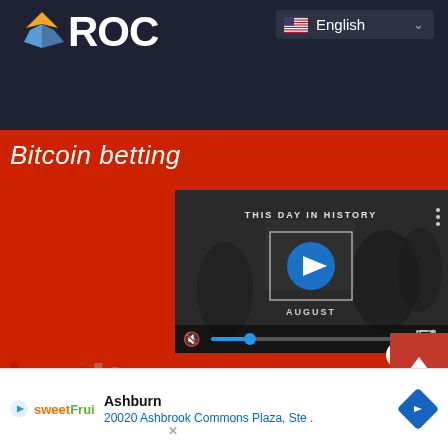[Figure (screenshot): Dark navy website banner header with partial logo (orange/blue star shape and 'ROC' text in white) and a language selector dropdown showing English with US flag]
Bitcoin betting
[Figure (screenshot): Embedded video player showing 'THIS DAY IN HISTORY' in August with a play button, mute control, progress bar with blue dot, and fullscreen button. Monochrome background with people.]
[Figure (screenshot): Partial betiton.com website logo/text visible in large red letters on red background]
[Figure (screenshot): Advertisement banner at bottom showing SweetFruit app with Ashburn location: 20020 Ashbrook Commons Plaza, Ste .]
Ashburn
20020 Ashbrook Commons Plaza, Ste .